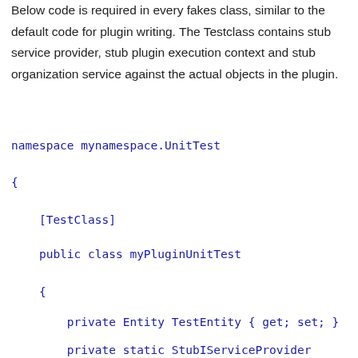Below code is required in every fakes class, similar to the default code for plugin writing. The Testclass contains stub service provider, stub plugin execution context and stub organization service against the actual objects in the plugin.
namespace mynamespace.UnitTest
{
[TestClass]
public class myPluginUnitTest
{
private Entity TestEntity { get; set; }
private static StubIServiceProvider